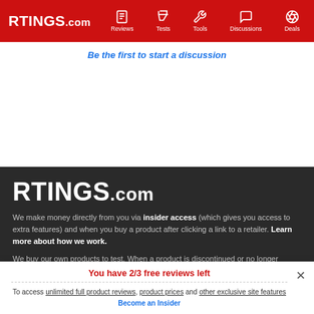RTINGS.com | Reviews | Tests | Tools | Discussions | Deals
Be the first to start a discussion
RTINGS.com
We make money directly from you via insider access (which gives you access to extra features) and when you buy a product after clicking a link to a retailer. Learn more about how we work.
We buy our own products to test. When a product is discontinued or no longer popular, we sell the purchased products locally in Montreal, Canada. You can see what products we currently have for
You have 2/3 free reviews left
To access unlimited full product reviews, product prices and other exclusive site features Become an Insider